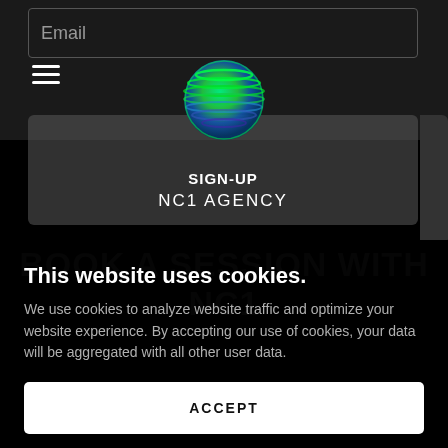Email
[Figure (logo): NC1 Agency globe logo — green and blue striped sphere]
SIGN-UP
NC1 AGENCY
BOOK A SESSION WITH NC1
This website uses cookies.
We use cookies to analyze website traffic and optimize your website experience. By accepting our use of cookies, your data will be aggregated with all other user data.
ACCEPT